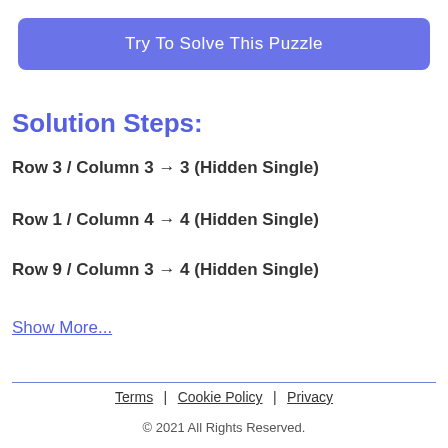Try To Solve This Puzzle
Solution Steps:
Row 3 / Column 3 → 3 (Hidden Single)
Row 1 / Column 4 → 4 (Hidden Single)
Row 9 / Column 3 → 4 (Hidden Single)
Show More...
Terms | Cookie Policy | Privacy
© 2021 All Rights Reserved.